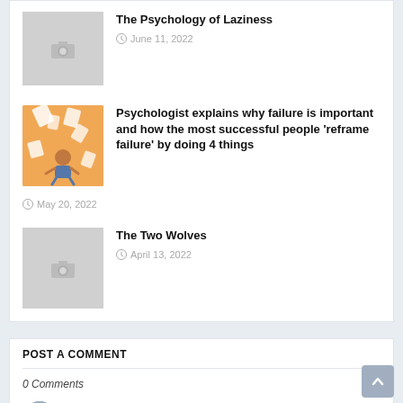The Psychology of Laziness — June 11, 2022
Psychologist explains why failure is important and how the most successful people 'reframe failure' by doing 4 things — May 20, 2022
The Two Wolves — April 13, 2022
POST A COMMENT
0 Comments
Enter Comment